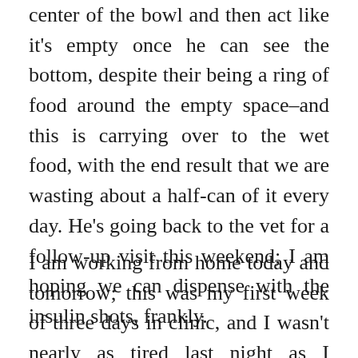center of the bowl and then act like it's empty once he can see the bottom, despite their being a ring of food around the empty space–and this is carrying over to the wet food, with the end result that we are wasting about a half-can of it every day. He's going back to the vet for a follow-up visit this weekend; I am hoping we can dispense with the insulin shots, frankly.
I am working from home today and tomorrow; this was my first week of three days in clinic, and I wasn't nearly as tired last night as I thought I might be, but I was definitely tired, and now I wonder which is